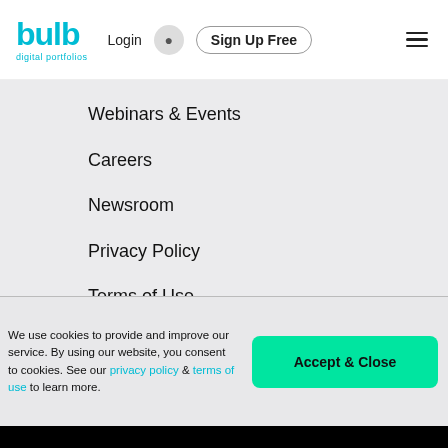[Figure (logo): Bulb digital portfolios logo with cyan text]
Login
Sign Up Free
Webinars & Events
Careers
Newsroom
Privacy Policy
Terms of Use
Sitemap
We use cookies to provide and improve our service. By using our website, you consent to cookies. See our privacy policy & terms of use to learn more.
Accept & Close